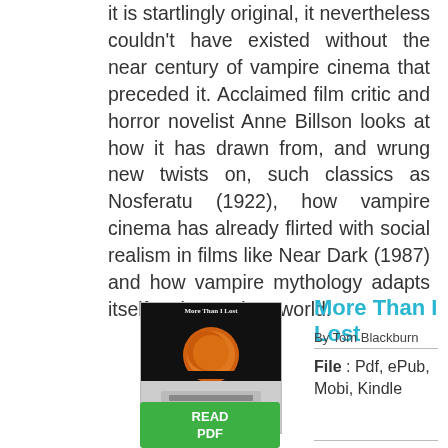it is startlingly original, it nevertheless couldn't have existed without the near century of vampire cinema that preceded it. Acclaimed film critic and horror novelist Anne Billson looks at how it has drawn from, and wrung new twists on, such classics as Nosferatu (1922), how vampire cinema has already flirted with social realism in films like Near Dark (1987) and how vampire mythology adapts itself to the modern world.
[Figure (illustration): Book cover for 'More Than I Lost' by Tom Blackburn, showing a large orange moon against a dark sky on top half, and a person's hands on a typewriter on the bottom half.]
More Than I Lost
By Tom Blackburn
File : Pdf, ePub, Mobi, Kindle
[Figure (illustration): Green READ PDF button]